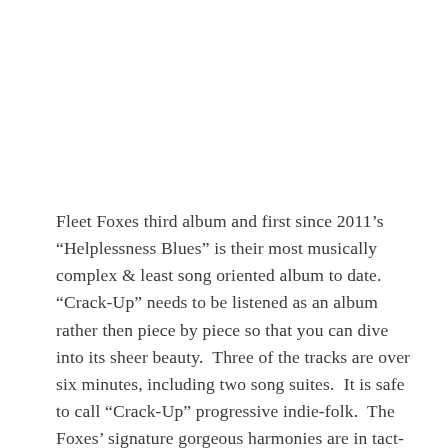Fleet Foxes third album and first since 2011's “Helplessness Blues” is their most musically complex & least song oriented album to date.  “Crack-Up” needs to be listened as an album rather then piece by piece so that you can dive into its sheer beauty.  Three of the tracks are over six minutes, including two song suites.  It is safe to call “Crack-Up” progressive indie-folk.  The Foxes’ signature gorgeous harmonies are in tact- there is not mistaking this band’s sound.  It’s just so much denser and layered than ever before, but ultimately rewarding for the listener who sticks with it.